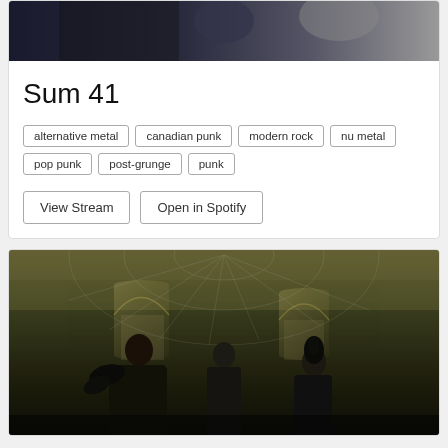[Figure (photo): Band photo of Sum 41 at top of card, partially cropped]
Sum 41
alternative metal
canadian punk
modern rock
nu metal
pop punk
post-grunge
punk
View Stream
Open in Spotify
[Figure (photo): Gothic hall photo with three figures in dark elaborate costumes standing in a cathedral-like room with arched windows and spiderweb designs]